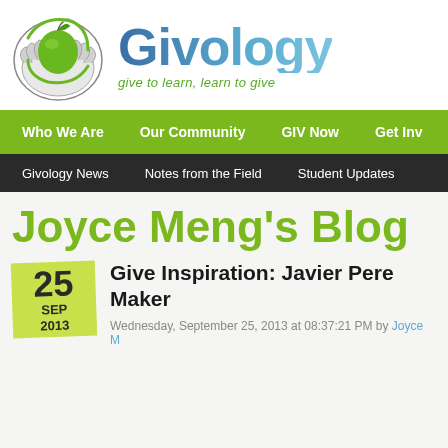[Figure (logo): Givology logo: hands cradling a green apple with a leaf, circular illustration in black and white/green]
Givology
give to learn, learn to give
Who We Are | Our Community | GIV Now | Get Inv
Givology News | Notes from the Field | Student Updates
Joyce Meng's Blog
25 SEP 2013
Give Inspiration: Javier Pere... Maker
Wednesday, September 25, 2013 at 08:37:21 PM by Joyce M